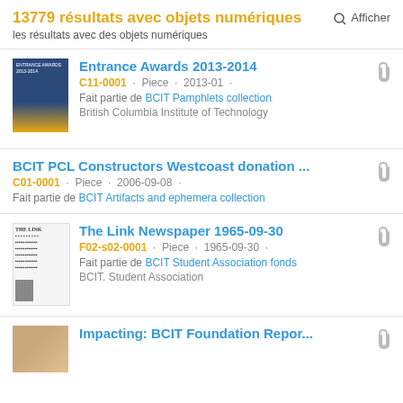13779 résultats avec objets numériques
les résultats avec des objets numériques
Entrance Awards 2013-2014
C11-0001 · Piece · 2013-01 ·
Fait partie de BCIT Pamphlets collection
British Columbia Institute of Technology
BCIT PCL Constructors Westcoast donation ...
C01-0001 · Piece · 2006-09-08 ·
Fait partie de BCIT Artifacts and ephemera collection
The Link Newspaper 1965-09-30
F02-s02-0001 · Piece · 1965-09-30 ·
Fait partie de BCIT Student Association fonds
BCIT. Student Association
Impacting: BCIT Foundation Repor...